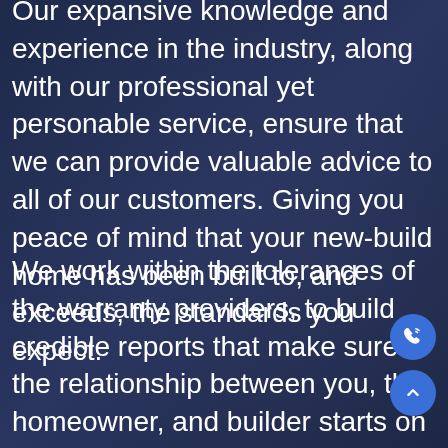Our expansive knowledge and experience in the industry, along with our professional yet personable service, ensure that we can provide valuable advice to all of our customers. Giving you peace of mind that your new-build home has been built to, and exceeds, the standards you expect.
We work within the tolerances of the warranty providers, to build credible reports that make sure the relationship between you, the homeowner, and builder starts on the right foot.